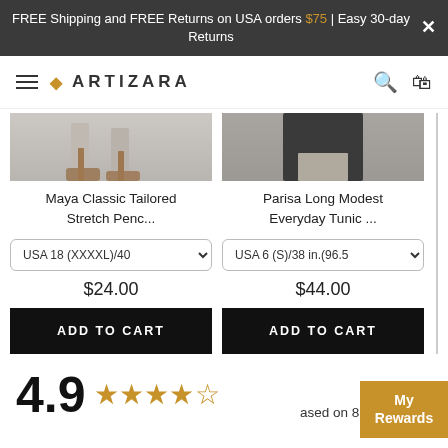FREE Shipping and FREE Returns on USA orders $75 | Easy 30-day Returns
[Figure (logo): Artizara brand logo with diamond icon and navigation bar including hamburger menu, search and cart icons]
[Figure (photo): Bottom portion of Maya Classic Tailored Stretch Pencil skirt product photo showing legs and heels]
Maya Classic Tailored Stretch Penc...
[Figure (photo): Bottom portion of Parisa Long Modest Everyday Tunic product photo showing dark clothing]
Parisa Long Modest Everyday Tunic ...
USA 18 (XXXXL)/40
$24.00
ADD TO CART
USA 6 (S)/38 in.(96.5
$44.00
ADD TO CART
4.9
based on 8 Reviews
My Rewards